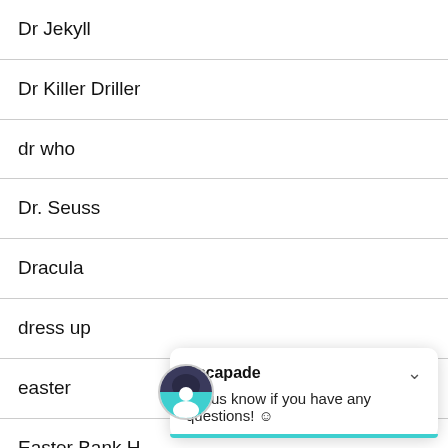Dr Jekyll
Dr Killer Driller
dr who
Dr. Seuss
Dracula
dress up
easter
Easter Bank H...
Easter Bunny
[Figure (screenshot): Chat popup widget with avatar icon. Title: Escapade. Message: Let us know if you have any questions! ☺]